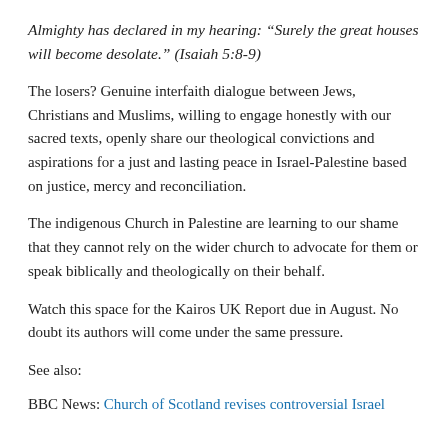Almighty has declared in my hearing: “Surely the great houses will become desolate.” (Isaiah 5:8-9)
The losers? Genuine interfaith dialogue between Jews, Christians and Muslims, willing to engage honestly with our sacred texts, openly share our theological convictions and aspirations for a just and lasting peace in Israel-Palestine based on justice, mercy and reconciliation.
The indigenous Church in Palestine are learning to our shame that they cannot rely on the wider church to advocate for them or speak biblically and theologically on their behalf.
Watch this space for the Kairos UK Report due in August. No doubt its authors will come under the same pressure.
See also:
BBC News: Church of Scotland revises controversial Israel